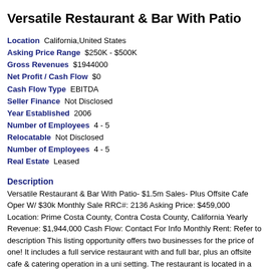Versatile Restaurant & Bar With Patio
Location  California,United States
Asking Price Range  $250K - $500K
Gross Revenues  $1944000
Net Profit / Cash Flow  $0
Cash Flow Type  EBITDA
Seller Finance  Not Disclosed
Year Established  2006
Number of Employees  4 - 5
Relocatable  Not Disclosed
Number of Employees  4 - 5
Real Estate  Leased
Description
Versatile Restaurant & Bar With Patio- $1.5m Sales- Plus Offsite Cafe Oper W/ $30k Monthly Sale RRC#: 2136 Asking Price: $459,000 Location: Prime Costa County, Contra Costa County, California Yearly Revenue: $1,944,000 Cash Flow: Contact For Info Monthly Rent: Refer to description This listing opportunity offers two businesses for the price of one! It includes a full service restaurant with and full bar, plus an offsite cafe & catering operation in a unique setting. The restaurant is located in a community which is very desirable for The restaurant interior provides seating for 100 guests, and the patio can ea accommodate an additional 85 customers. The restaurant has a table seating that is open and casual and features a true exhibition line kitchen experience engages diners to witness the food preparation and expediting process. A fo reception area with couch seating greets those guests looking to dine and w the kitchen theatrics, or those headed into the relaxed, inviting bar for drinks